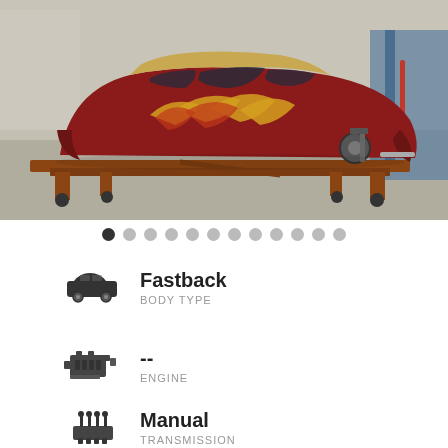[Figure (photo): Red and gold flame-painted classic Mustang fastback body shell on a rolling chassis/frame, photographed outdoors in a garage lot. The car body is separated from its drivetrain components and sitting on a metal frame with wheels.]
Fastback | BODY TYPE
-- | ENGINE
Manual | TRANSMISSION